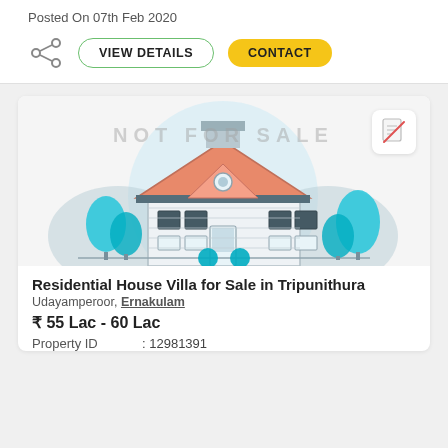Posted On 07th Feb 2020
[Figure (illustration): Share icon, VIEW DETAILS button with green border, CONTACT button with yellow background]
[Figure (illustration): Illustration of a residential house villa with trees, light blue background circle, 'NOT FOR SALE' watermark text overlay, and a document-with-cross icon in top right corner]
Residential House Villa for Sale in Tripunithura
Udayamperoor, Ernakulam
₹ 55 Lac - 60 Lac
Property ID : 12981391